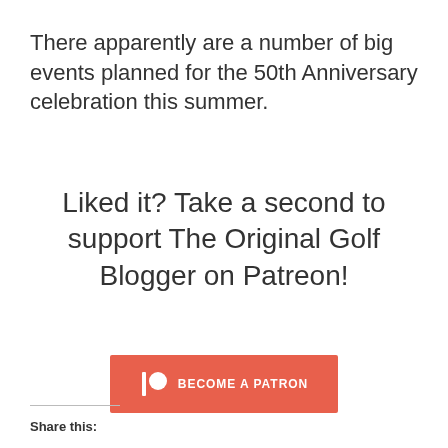There apparently are a number of big events planned for the 50th Anniversary celebration this summer.
Liked it? Take a second to support The Original Golf Blogger on Patreon!
[Figure (other): Patreon 'Become a Patron' button with orange/red background, Patreon logo icon, and white bold text reading 'BECOME A PATRON']
Share this: